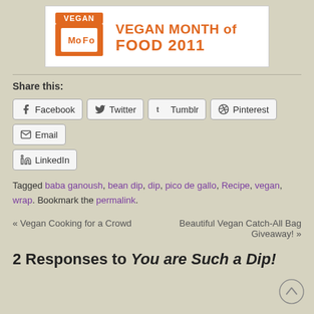[Figure (logo): Vegan Month of Food 2011 banner logo with orange text and icon]
Share this:
Facebook  Twitter  Tumblr  Pinterest  Email  LinkedIn
Tagged baba ganoush, bean dip, dip, pico de gallo, Recipe, vegan, wrap. Bookmark the permalink.
« Vegan Cooking for a Crowd
Beautiful Vegan Catch-All Bag Giveaway! »
2 Responses to You are Such a Dip!